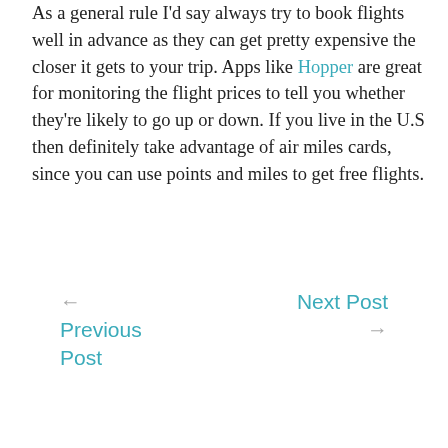As a general rule I'd say always try to book flights well in advance as they can get pretty expensive the closer it gets to your trip. Apps like Hopper are great for monitoring the flight prices to tell you whether they're likely to go up or down. If you live in the U.S then definitely take advantage of air miles cards, since you can use points and miles to get free flights.
← Next Post  Previous Post →